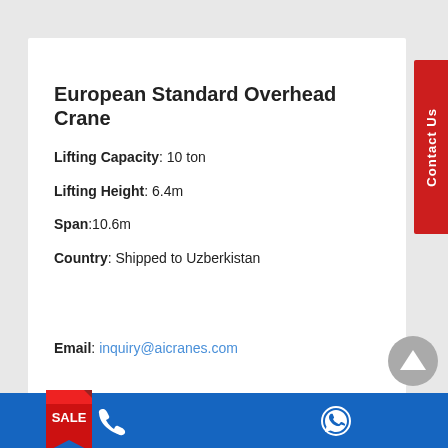European Standard Overhead Crane
Lifting Capacity: 10 ton
Lifting Height: 6.4m
Span: 10.6m
Country: Shipped to Uzberkistan
Email: inquiry@aicranes.com
[Figure (other): GET A FREE QUOTE button with SALE tag]
Phone and WhatsApp contact icons on blue bar